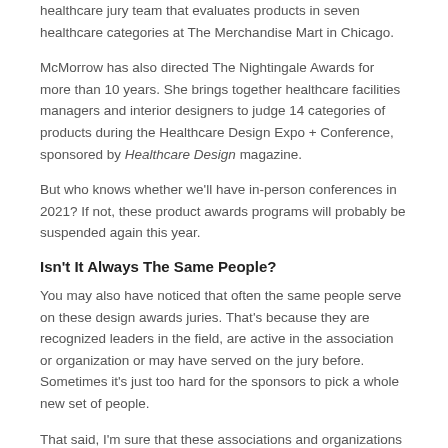healthcare jury team that evaluates products in seven healthcare categories at The Merchandise Mart in Chicago.
McMorrow has also directed The Nightingale Awards for more than 10 years. She brings together healthcare facilities managers and interior designers to judge 14 categories of products during the Healthcare Design Expo + Conference, sponsored by Healthcare Design magazine.
But who knows whether we'll have in-person conferences in 2021? If not, these product awards programs will probably be suspended again this year.
Isn't It Always The Same People?
You may also have noticed that often the same people serve on these design awards juries. That's because they are recognized leaders in the field, are active in the association or organization or may have served on the jury before. Sometimes it's just too hard for the sponsors to pick a whole new set of people.
That said, I'm sure that these associations and organizations would welcome some fresh faces, as long as they have a reasonable amount of experience designing healthcare projects and/or specifying products. It's also helpful if you're a member of